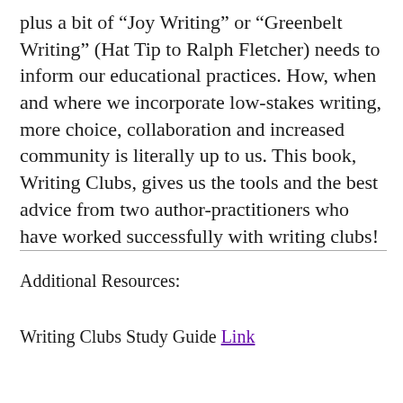plus a bit of “Joy Writing” or “Greenbelt Writing” (Hat Tip to Ralph Fletcher) needs to inform our educational practices. How, when and where we incorporate low-stakes writing, more choice, collaboration and increased community is literally up to us. This book, Writing Clubs, gives us the tools and the best advice from two author-practitioners who have worked successfully with writing clubs!
Additional Resources:
Writing Clubs Study Guide Link